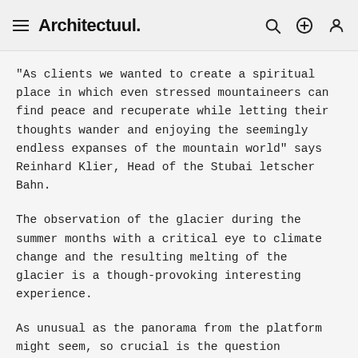Architectuul.
“As clients we wanted to create a spiritual place in which even stressed mountaineers can find peace and recuperate while letting their thoughts wander and enjoying the seemingly endless expanses of the mountain world” says Reinhard Klier, Head of the Stubai letscher Bahn.
The observation of the glacier during the summer months with a critical eye to climate change and the resulting melting of the glacier is a though-provoking interesting experience.
As unusual as the panorama from the platform might seem, so crucial is the question concerning the solution to the invasion of